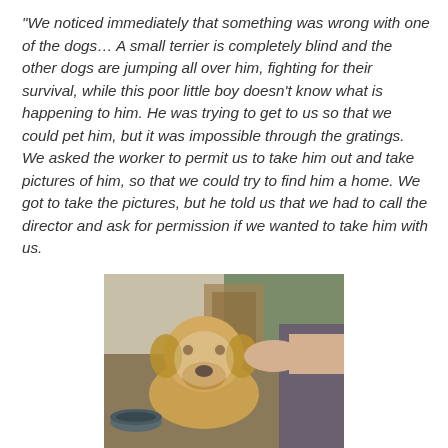“We noticed immediately that something was wrong with one of the dogs… A small terrier is completely blind and the other dogs are jumping all over him, fighting for their survival, while this poor little boy doesn’t know what is happening to him. He was trying to get to us so that we could pet him, but it was impossible through the gratings. We asked the worker to permit us to take him out and take pictures of him, so that we could try to find him a home. We got to take the pictures, but he told us that we had to call the director and ask for permission if we wanted to take him with us.
[Figure (photo): A golden/yellow dog looking toward the camera with a person's hand petting it, near a metal water bowl, outdoors with some wooden structure and greenery in background.]